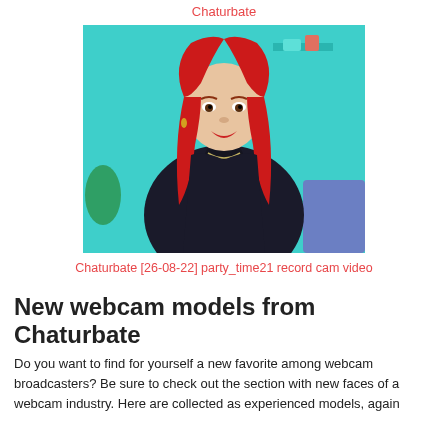Chaturbate
[Figure (photo): Webcam photo of a woman with red hair wearing a dark jacket, sitting against a teal/green background with shelves visible.]
Chaturbate [26-08-22] party_time21 record cam video
New webcam models from Chaturbate
Do you want to find for yourself a new favorite among webcam broadcasters? Be sure to check out the section with new faces of a webcam industry. Here are collected as experienced models, again